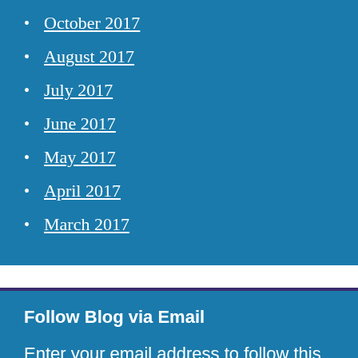October 2017
August 2017
July 2017
June 2017
May 2017
April 2017
March 2017
Follow Blog via Email
Enter your email address to follow this blog and receive notifications of new posts by email.